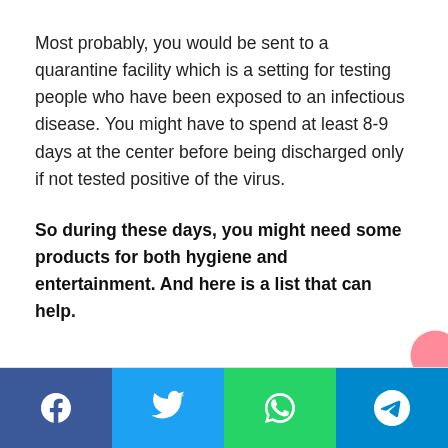Most probably, you would be sent to a quarantine facility which is a setting for testing people who have been exposed to an infectious disease. You might have to spend at least 8-9 days at the center before being discharged only if not tested positive of the virus.
So during these days, you might need some products for both hygiene and entertainment. And here is a list that can help.